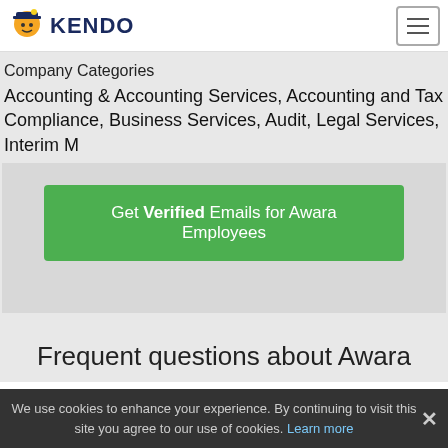KENDO
Company Categories
Accounting & Accounting Services, Accounting and Tax Compliance, Business Services, Audit, Legal Services, Interim M
Get Verified Emails for Awara Employees
Frequent questions about Awara
We use cookies to enhance your experience. By continuing to visit this site you agree to our use of cookies. Learn more